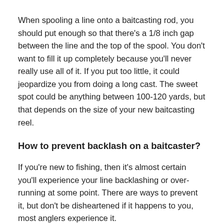When spooling a line onto a baitcasting rod, you should put enough so that there's a 1/8 inch gap between the line and the top of the spool. You don't want to fill it up completely because you'll never really use all of it. If you put too little, it could jeopardize you from doing a long cast. The sweet spot could be anything between 100-120 yards, but that depends on the size of your new baitcasting reel.
How to prevent backlash on a baitcaster?
If you're new to fishing, then it's almost certain you'll experience your line backlashing or over-running at some point. There are ways to prevent it, but don't be disheartened if it happens to you, most anglers experience it.
By adjusting the brake system and spool tension, you'l a lot more control before you cast. Try to practice over shorter distances and always do a test cast. Once you're out